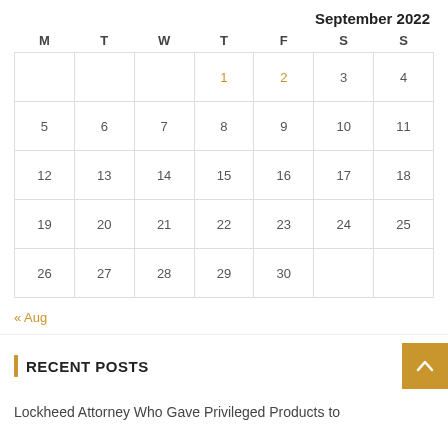September 2022
| M | T | W | T | F | S | S |
| --- | --- | --- | --- | --- | --- | --- |
|  |  |  | 1 | 2 | 3 | 4 |
| 5 | 6 | 7 | 8 | 9 | 10 | 11 |
| 12 | 13 | 14 | 15 | 16 | 17 | 18 |
| 19 | 20 | 21 | 22 | 23 | 24 | 25 |
| 26 | 27 | 28 | 29 | 30 |  |  |
« Aug
RECENT POSTS
Lockheed Attorney Who Gave Privileged Products to